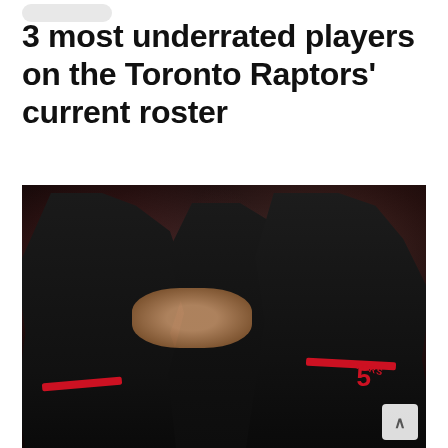[Figure (logo): Small rounded pill-shaped logo/brand mark at top left]
3 most underrated players on the Toronto Raptors' current roster
[Figure (photo): Three Toronto Raptors basketball players in black jerseys celebrating on court. The player on the right wears number 5. Players are giving high-fives/handshakes. Arena crowd is visible blurred in background.]